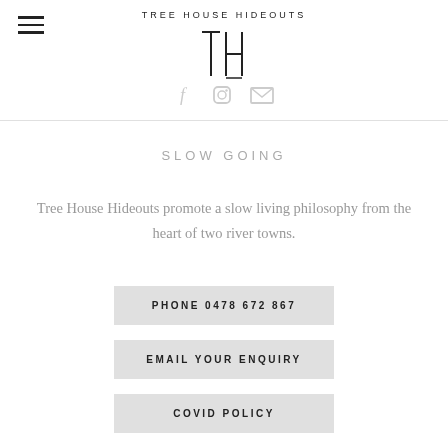TREE HOUSE HIDEOUTS
[Figure (logo): TH monogram logo in decorative lettering]
[Figure (infographic): Social media icons: Facebook, Instagram, Email]
SLOW GOING
Tree House Hideouts promote a slow living philosophy from the heart of two river towns.
PHONE 0478 672 867
EMAIL YOUR ENQUIRY
COVID POLICY